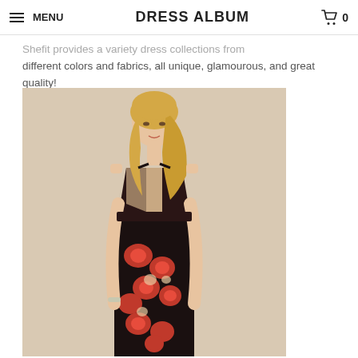≡ MENU   DRESS ALBUM   🛒 0
different colors and fabrics, all unique, glamourous, and great quality!
[Figure (photo): A female model wearing a black floral jumpsuit with red and pink flowers and spaghetti straps with a V-neck crossover bodice, standing against a beige background.]